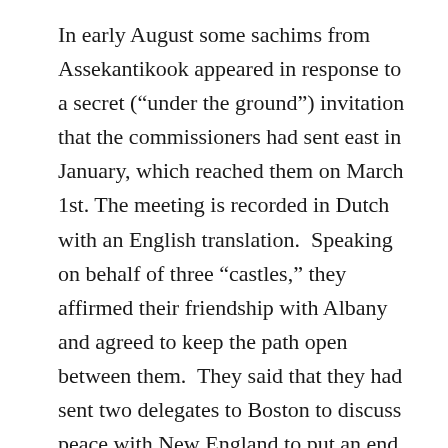In early August some sachims from Assekantikook appeared in response to a secret (“under the ground”) invitation that the commissioners had sent east in January, which reached them on March 1st. The meeting is recorded in Dutch with an English translation.  Speaking on behalf of three “castles,” they affirmed their friendship with Albany and agreed to keep the path open between them.  They said that they had sent two delegates to Boston to discuss peace with New England to put an end to Dummer’s War. The commissioners welcomed them, thanked them, and assured them that the path would be kept open between them.  They hoped that peace would be concluded with New England as well.  The commissioners also said that as they knew, the French were objecting to the new building at Oswego. They asked that Assekantikook stay out of this affair and refuse to let the French persuade them to attack the new house; otherwise